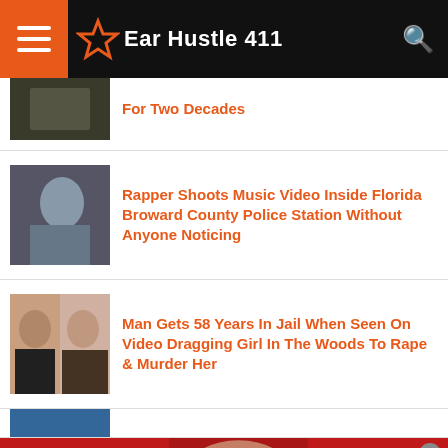Ear Hustle 411
For Two Decades
Rapper Shoots Music Video Inside Florida Broward County Police Station Without Anyone Noticing
Man Gets 58 Years In Jail When Seen On Video Dragging Girl In The Woods To Rape & Murder Her
[Figure (infographic): Advertisement banner: KISS BORING LIPS GOODBYE with woman's lips photo, SHOP NOW button and Macy's star logo on red background]